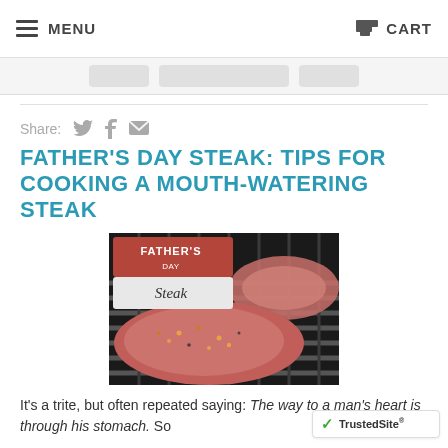MENU  CART
Share:
FATHER'S DAY STEAK: TIPS FOR COOKING A MOUTH-WATERING STEAK
[Figure (photo): Two raw seasoned steaks on a grill with a 'Father's Day Steak' label overlay in the top left corner.]
It's a trite, but often repeated saying: The way to a man's heart is through his stomach. So